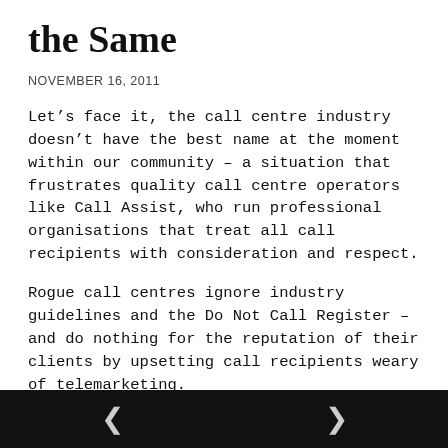the Same
NOVEMBER 16, 2011
Let’s face it, the call centre industry doesn’t have the best name at the moment within our community – a situation that frustrates quality call centre operators like Call Assist, who run professional organisations that treat all call recipients with consideration and respect.
Rogue call centres ignore industry guidelines and the Do Not Call Register – and do nothing for the reputation of their clients by upsetting call recipients weary of telemarketing.
And it’s a shame – because done well, telemarketing